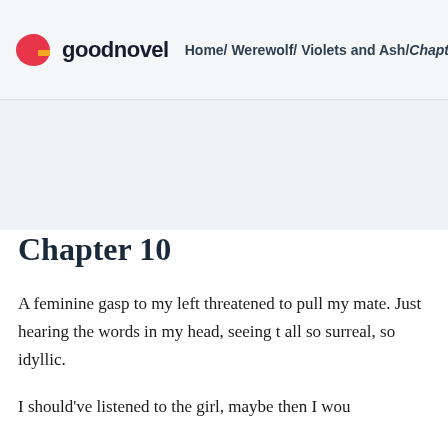goodnovel  Home/ Werewolf/ Violets and Ash/Chapt
[Figure (other): Advertisement banner area with light gray background]
Chapter 10
A feminine gasp to my left threatened to pull my mate. Just hearing the words in my head, seeing t all so surreal, so idyllic.
I should've listened to the girl, maybe then I wou